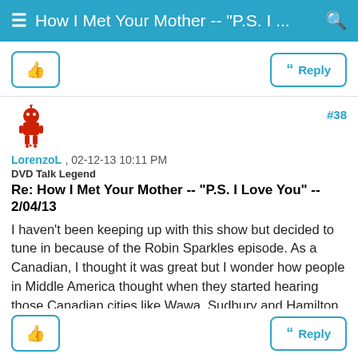≡ How I Met Your Mother -- "P.S. I ... 🔍
#38
LorenzoL , 02-12-13 10:11 PM
DVD Talk Legend
Re: How I Met Your Mother -- "P.S. I Love You" -- 2/04/13
I haven't been keeping up with this show but decided to tune in because of the Robin Sparkles episode. As a Canadian, I thought it was great but I wonder how people in Middle America thought when they started hearing those Canadian cities like Wawa, Sudbury and Hamilton and the Canadian centric jokes.

BTW, I have to agree that the best part of the episode was the Coulier and Saget bit.